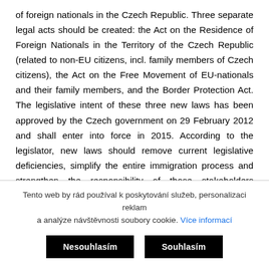of foreign nationals in the Czech Republic. Three separate legal acts should be created: the Act on the Residence of Foreign Nationals in the Territory of the Czech Republic (related to non-EU citizens, incl. family members of Czech citizens), the Act on the Free Movement of EU-nationals and their family members, and the Border Protection Act. The legislative intent of these three new laws has been approved by the Czech government on 29 February 2012 and shall enter into force in 2015. According to the legislator, new laws should remove current legislative deficiencies, simplify the entire immigration process and strengthen the responsibility of those stakeholders engaged in the arrival of foreigners such as employers or
Tento web by rád používal k poskytování služeb, personalizaci reklam a analýze návštěvnosti soubory cookie. Více informací
Nesouhlasím   Souhlasím